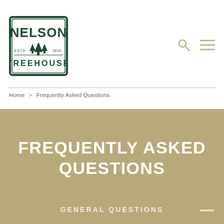[Figure (logo): Nelson Treehouse logo — rectangular border with NELSON in bold, trees illustration, ESTD 2010, TREEHOUSE text]
Home > Frequently Asked Questions
FREQUENTLY ASKED QUESTIONS
GENERAL QUESTIONS